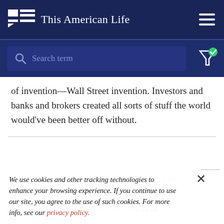This American Life
of invention—Wall Street invention. Investors and banks and brokers created all sorts of stuff the world would've been better off without.
We use cookies and other tracking technologies to enhance your browsing experience. If you continue to use our site, you agree to the use of such cookies. For more info, see our privacy policy.
365: Another Frightening Show About the Economy  Oct 3, 2008
Prologue
Host Ira Glass goes to Union Square, a 15-minute subway ride from Wall Street, where it doesn't look like we're on the edge of an economic abyss.